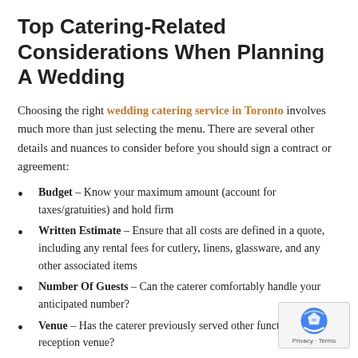Top Catering-Related Considerations When Planning A Wedding
Choosing the right wedding catering service in Toronto involves much more than just selecting the menu. There are several other details and nuances to consider before you should sign a contract or agreement:
Budget – Know your maximum amount (account for taxes/gratuities) and hold firm
Written Estimate – Ensure that all costs are defined in a quote, including any rental fees for cutlery, linens, glassware, and any other associated items
Number Of Guests – Can the caterer comfortably handle your anticipated number?
Venue – Has the caterer previously served other functions at your reception venue?
Type Of Service – Table service or buffet style?
Menu Variety – If table service, is there the flexibility of a